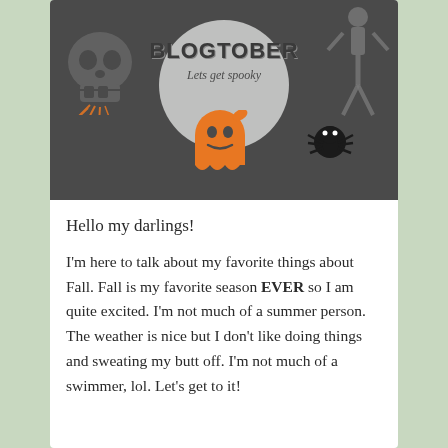[Figure (illustration): Blogtober Halloween banner with dark gray background, gray moon in center with text 'BLOGTOBER Lets get spooky', gray skull on lower left, skeleton on upper right, orange ghost in center-bottom, black spider on right, orange web/plant on left.]
Hello my darlings!
I'm here to talk about my favorite things about Fall. Fall is my favorite season EVER so I am quite excited. I'm not much of a summer person. The weather is nice but I don't like doing things and sweating my butt off. I'm not much of a swimmer, lol. Let's get to it!